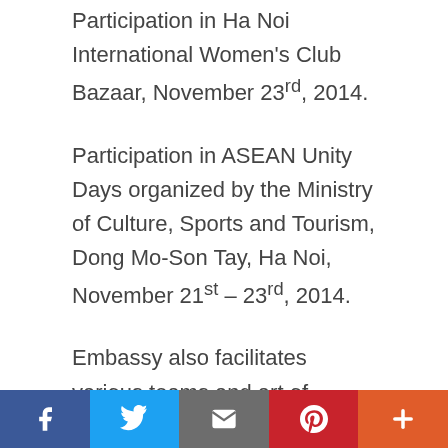Participation in Ha Noi International Women's Club Bazaar, November 23rd, 2014.
Participation in ASEAN Unity Days organized by the Ministry of Culture, Sports and Tourism, Dong Mo-Son Tay, Ha Noi, November 21st – 23rd, 2014.
Embassy also facilitates various teams and art of Indonesian dancers who participated in various festivals in Viet Nam, among others:
The Hue Festival, April 16th to 21st, 2014; Promotion of culture Jakarta Culture and Tourism Promotion, Hotel Melia, Ha Noi, May 19th, 2014; Team of National Sport...